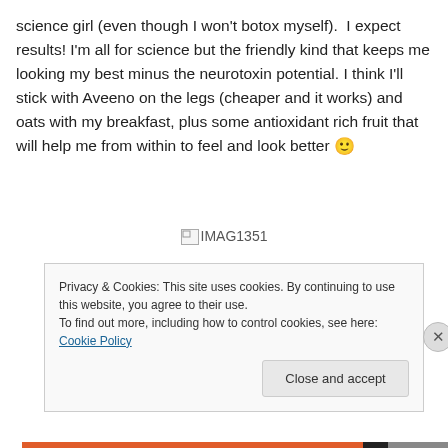science girl (even though I won't botox myself).  I expect results! I'm all for science but the friendly kind that keeps me looking my best minus the neurotoxin potential. I think I'll stick with Aveeno on the legs (cheaper and it works) and oats with my breakfast, plus some antioxidant rich fruit that will help me from within to feel and look better 🙂
[Figure (photo): Broken image placeholder labeled IMAG1351]
Privacy & Cookies: This site uses cookies. By continuing to use this website, you agree to their use.
To find out more, including how to control cookies, see here: Cookie Policy
Close and accept